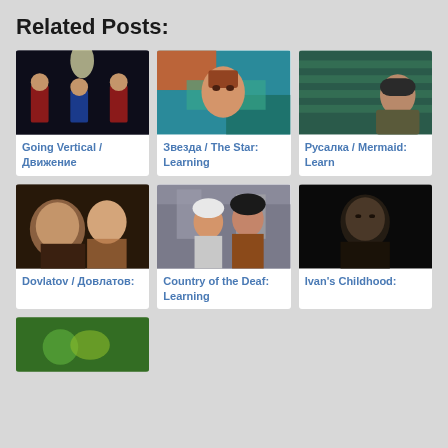Related Posts:
[Figure (photo): Basketball players in red uniforms standing in a dark gym under a light]
Going Vertical / Движение
[Figure (photo): Person with red hair lying on colorful blue and orange surface viewed from above]
Звезда / The Star: Learning
[Figure (photo): Woman in dark beret looking up in a store aisle with teal/green tones]
Русалка / Mermaid: Learn
[Figure (photo): Two people in close-up indoor scene, dark moody lighting]
Dovlatov / Довлатов:
[Figure (photo): Two women on a city street, one in white hat one in black hat and brown coat]
Country of the Deaf: Learning
[Figure (photo): Dark moody black and white portrait figure]
Ivan's Childhood:
[Figure (photo): Partial thumbnail at bottom left, colorful image cut off]